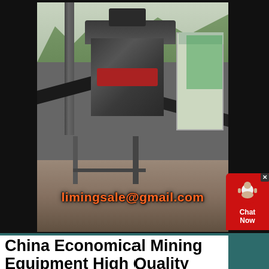[Figure (photo): Outdoor mining/crushing equipment facility with heavy machinery, conveyor belts, and industrial structures on a rocky terrain. Email address 'limingsale@gmail.com' overlaid on the image.]
China Economical Mining Equipment High Quality Easy
Singlestage hammer crusher is heavy hammer crusher, also known as compound hammer crusher, which is mainly used in crushing of limestone Large singstage
[Figure (other): Chat Now button widget with headset icon on red background, top right corner]
[Figure (other): Chat Online bar at bottom with yellow chat bubble icon on teal/dark green background]